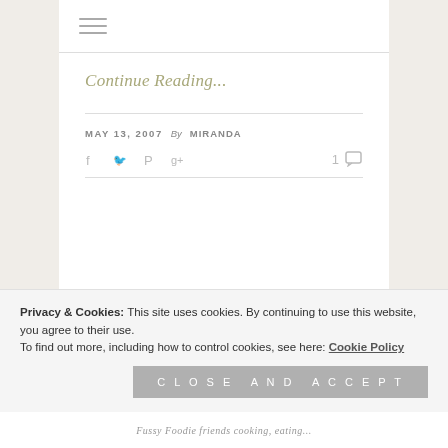[Figure (other): Hamburger menu icon with three horizontal lines]
Continue Reading...
MAY 13, 2007   By MIRANDA
[Figure (other): Social media icons: Facebook, Twitter, Pinterest, Google+, and a comment count of 1]
Privacy & Cookies: This site uses cookies. By continuing to use this website, you agree to their use.
To find out more, including how to control cookies, see here: Cookie Policy
Close and accept
Fussy Foodie friends cooking, eating...